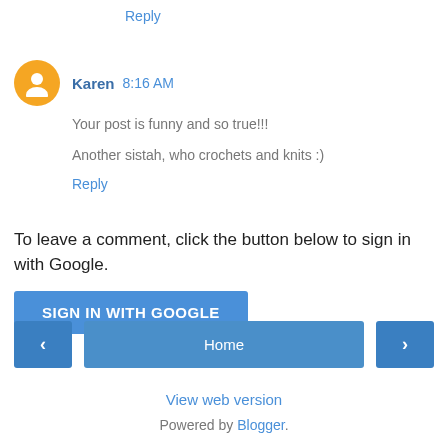Reply
Karen  8:16 AM
Your post is funny and so true!!!
Another sistah, who crochets and knits :)
Reply
To leave a comment, click the button below to sign in with Google.
[Figure (other): SIGN IN WITH GOOGLE button]
[Figure (other): Navigation bar with left arrow, Home button, and right arrow]
View web version
Powered by Blogger.